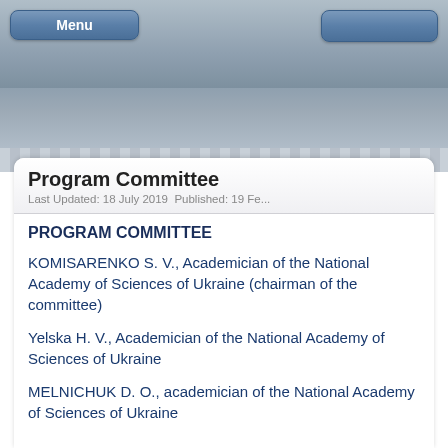[Figure (screenshot): Mobile app top navigation bar with Menu button on the left and a blue button on the right, over a gray gradient background]
Program Committee
Last Updated: 18 July 2019  Published: 19 Fe...
PROGRAM COMMITTEE
KOMISARENKO S. V., Academician of the National Academy of Sciences of Ukraine (chairman of the committee)
Yelska H. V., Academician of the National Academy of Sciences of Ukraine
MELNICHUK D. O., academician of the National Academy of Sciences of Ukraine